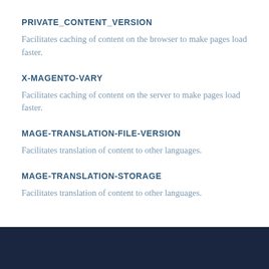PRIVATE_CONTENT_VERSION
Facilitates caching of content on the browser to make pages load faster.
X-MAGENTO-VARY
Facilitates caching of content on the server to make pages load faster.
MAGE-TRANSLATION-FILE-VERSION
Facilitates translation of content to other languages.
MAGE-TRANSLATION-STORAGE
Facilitates translation of content to other languages.